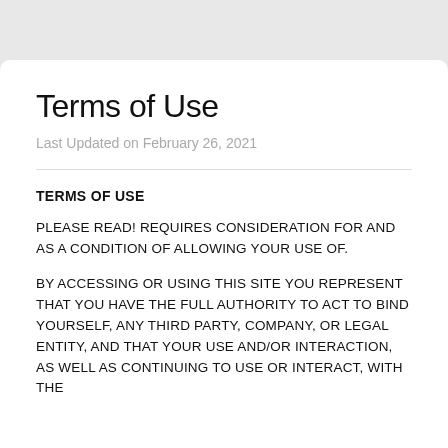Terms of Use
Last Updated on February 26, 2021
TERMS OF USE
PLEASE READ! REQUIRES CONSIDERATION FOR AND AS A CONDITION OF ALLOWING YOUR USE OF.
BY ACCESSING OR USING THIS SITE YOU REPRESENT THAT YOU HAVE THE FULL AUTHORITY TO ACT TO BIND YOURSELF, ANY THIRD PARTY, COMPANY, OR LEGAL ENTITY, AND THAT YOUR USE AND/OR INTERACTION, AS WELL AS CONTINUING TO USE OR INTERACT, WITH THE